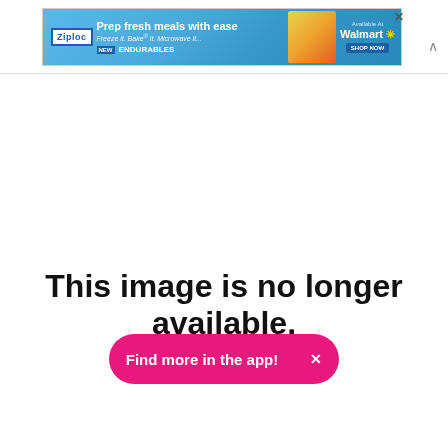[Figure (screenshot): Ziploc advertisement banner: 'Prep fresh meals with ease – Freeze it. Bake it. Microwave it. NEW ENDURABLES – Available at Walmart – SHOP NOW']
This image is no longer available.
[Figure (other): Pink rounded button with text 'Find more in the app!' and a close X button]